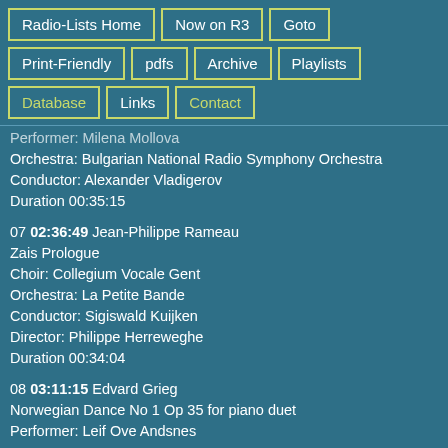Radio-Lists Home | Now on R3 | Goto | Print-Friendly | pdfs | Archive | Playlists | Database | Links | Contact
Performer: Milena Mollova
Orchestra: Bulgarian National Radio Symphony Orchestra
Conductor: Alexander Vladigerov
Duration 00:35:15
07 02:36:49 Jean-Philippe Rameau
Zais Prologue
Choir: Collegium Vocale Gent
Orchestra: La Petite Bande
Conductor: Sigiswald Kuijken
Director: Philippe Herreweghe
Duration 00:34:04
08 03:11:15 Edvard Grieg
Norwegian Dance No 1 Op 35 for piano duet
Performer: Leif Ove Andsnes